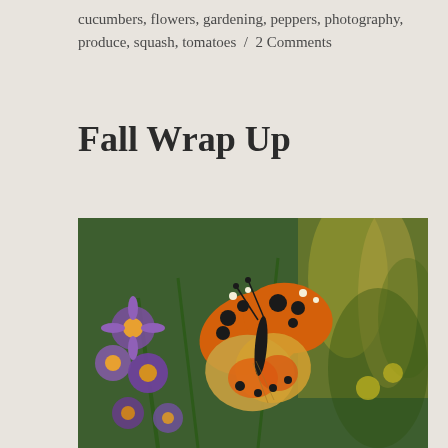cucumbers, flowers, gardening, peppers, photography, produce, squash, tomatoes  /  2 Comments
Fall Wrap Up
[Figure (photo): A painted lady butterfly with orange, black, and white patterned wings resting on purple aster flowers, with green foliage and yellow wildflowers in the background.]